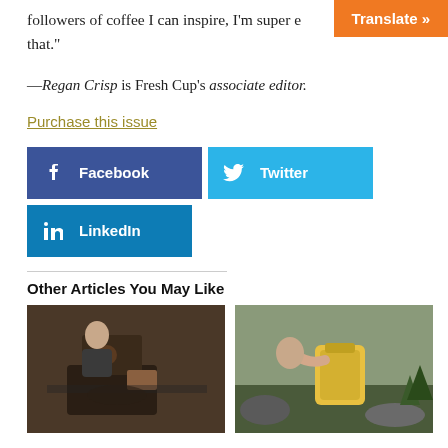followers of coffee I can inspire, I'm super ex… that."
—Regan Crisp is Fresh Cup's associate editor.
Purchase this issue
[Figure (screenshot): Facebook, Twitter, and LinkedIn share buttons]
Other Articles You May Like
[Figure (photo): Photo of a person working with a coffee machine]
[Figure (photo): Photo of a person outdoors holding a yellow bag]